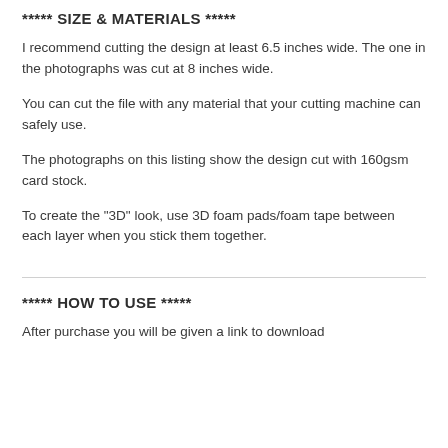***** SIZE & MATERIALS *****
I recommend cutting the design at least 6.5 inches wide. The one in the photographs was cut at 8 inches wide.
You can cut the file with any material that your cutting machine can safely use.
The photographs on this listing show the design cut with 160gsm card stock.
To create the "3D" look, use 3D foam pads/foam tape between each layer when you stick them together.
***** HOW TO USE *****
After purchase you will be given a link to download